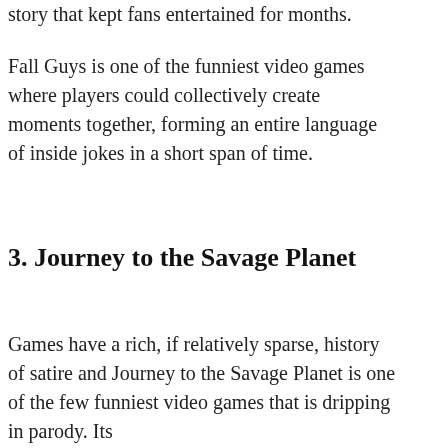story that kept fans entertained for months.
Fall Guys is one of the funniest video games where players could collectively create moments together, forming an entire language of inside jokes in a short span of time.
3. Journey to the Savage Planet
Games have a rich, if relatively sparse, history of satire and Journey to the Savage Planet is one of the few funniest video games that is dripping in parody. Its